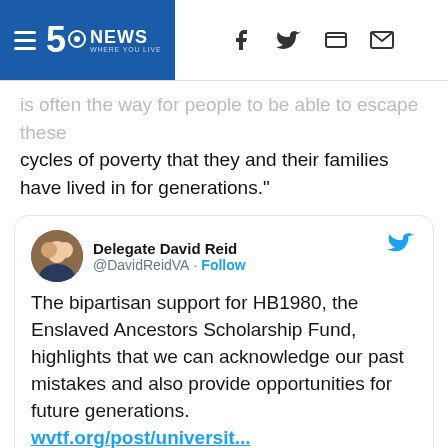5 News Where You Live
cycles of poverty that they and their families have lived in for generations."
[Figure (screenshot): Embedded tweet from @DavidReidVA (Delegate David Reid) with Twitter bird icon. Tweet text: The bipartisan support for HB1980, the Enslaved Ancestors Scholarship Fund, highlights that we can acknowledge our past mistakes and also provide opportunities for future generations. wvtf.org/post/universit... @LoudounNaacp @delegatebagby @SenatorJohnBell @JenniferBoysko]
[Figure (photo): Outdoor photo showing trees and blue sky at bottom of page]